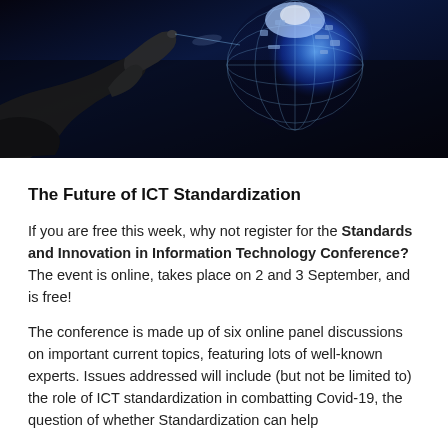[Figure (photo): A hand reaching toward a glowing digital globe/brain-like sphere with circuit patterns, on a dark background — representing ICT and digital technology.]
The Future of ICT Standardization
If you are free this week, why not register for the Standards and Innovation in Information Technology Conference? The event is online, takes place on 2 and 3 September, and is free!
The conference is made up of six online panel discussions on important current topics, featuring lots of well-known experts. Issues addressed will include (but not be limited to) the role of ICT standardization in combatting Covid-19, the question of whether Standardization can help